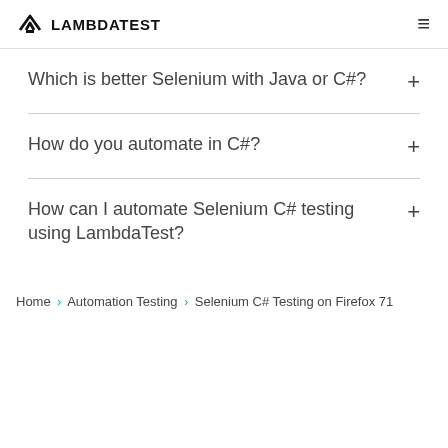LAMBDATEST
Which is better Selenium with Java or C#?
How do you automate in C#?
How can I automate Selenium C# testing using LambdaTest?
Home › Automation Testing › Selenium C# Testing on Firefox 71